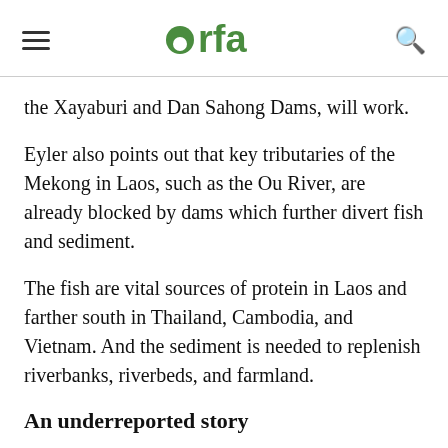rfa
the Xayaburi and Dan Sahong Dams, will work.
Eyler also points out that key tributaries of the Mekong in Laos, such as the Ou River, are already blocked by dams which further divert fish and sediment.
The fish are vital sources of protein in Laos and farther south in Thailand, Cambodia, and Vietnam. And the sediment is needed to replenish riverbanks, riverbeds, and farmland.
An underreported story
The scale of dam building in Laos is far